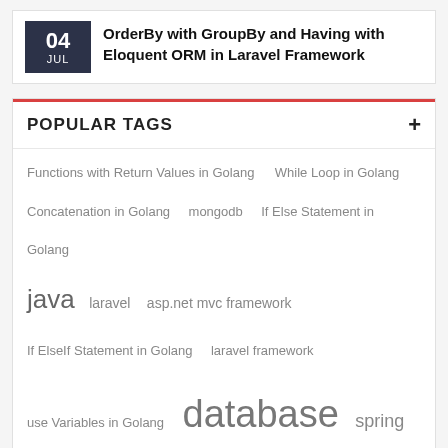OrderBy with GroupBy and Having with Eloquent ORM in Laravel Framework
POPULAR TAGS
Functions with Return Values in Golang
While Loop in Golang
Concatenation in Golang
mongodb
If Else Statement in Golang
java
laravel
asp.net mvc framework
If ElseIf Statement in Golang
laravel framework
use Variables in Golang
database
spring data
Declare Variables in Golang
mongodb database
Functions in Golang
blade template laravel